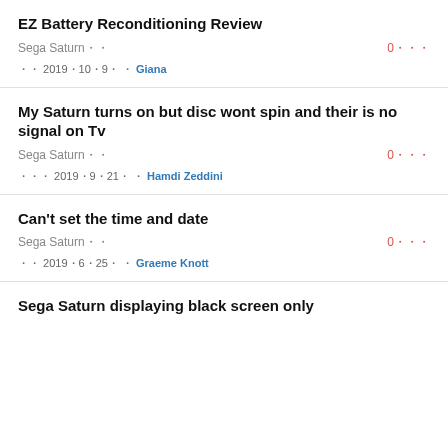EZ Battery Reconditioning Review
Sega Saturn・・　0・・・
・・ 2019・10・9・ ・ Giana
My Saturn turns on but disc wont spin and their is no signal on Tv
Sega Saturn・・　0・・・
・・・ 2019・9・21・ ・ Hamdi Zeddini
Can't set the time and date
Sega Saturn・・　0・・・
・・ 2019・6・25・ ・ Graeme Knott
Sega Saturn displaying black screen only